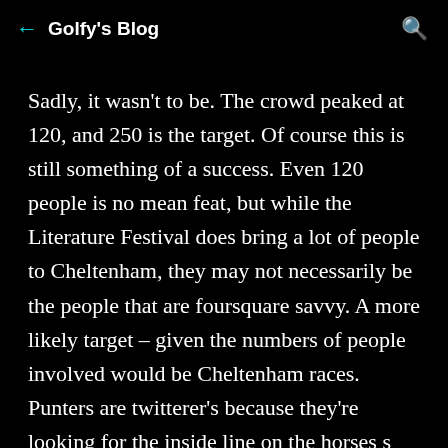← Golfy's Blog 🔍
Sadly, it wasn't to be. The crowd peaked at 120, and 250 is the target. Of course this is still something of a success. Even 120 people is no mean feat, but while the Literature Festival does bring a lot of people to Cheltenham, they may not necessarily be the people that are foursquare savvy. A more likely target – given the numbers of people involved would be Cheltenham races. Punters are twitterer's because they're looking for the inside line on the horses s this makes